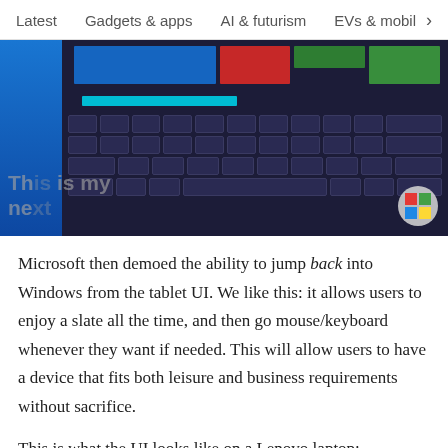Latest   Gadgets & apps   AI & futurism   EVs & mobil  >
[Figure (screenshot): Screenshot of a Windows tablet UI showing a virtual keyboard on a dark-themed tablet device. The left side shows a bright blue panel, and the main screen shows app tiles at the top and a full QWERTY keyboard below. Text watermark reads 'This is my next' partially visible. The Verge logo circle appears bottom-right.]
Microsoft then demoed the ability to jump back into Windows from the tablet UI. We like this: it allows users to enjoy a slate all the time, and then go mouse/keyboard whenever they want if needed. This will allow users to have a device that fits both leisure and business requirements without sacrifice.
This is what the UI looks like on a Lenovo laptop: